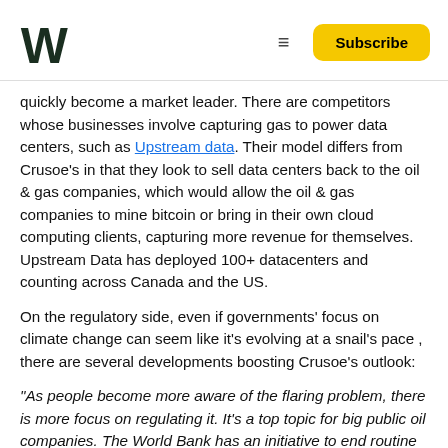Weekender logo | Subscribe
quickly become a market leader. There are competitors whose businesses involve capturing gas to power data centers, such as Upstream data. Their model differs from Crusoe's in that they look to sell data centers back to the oil & gas companies, which would allow the oil & gas companies to mine bitcoin or bring in their own cloud computing clients, capturing more revenue for themselves. Upstream Data has deployed 100+ datacenters and counting across Canada and the US.
On the regulatory side, even if governments' focus on climate change can seem like it's evolving at a snail's pace , there are several developments boosting Crusoe's outlook:
“As people become more aware of the flaring problem, there is more focus on regulating it. It’s a top topic for big public oil companies. The World Bank has an initiative to end routine flaring by 2030. A bunch of industry partners have signed on to that initiative already...